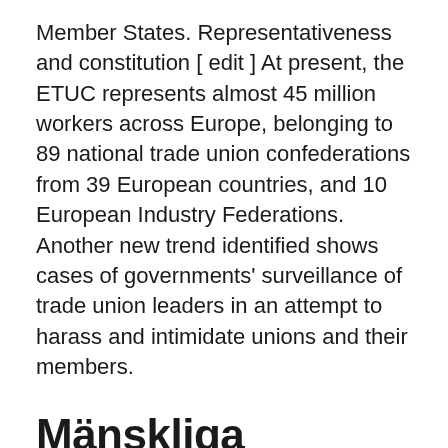Member States. Representativeness and constitution [ edit ] At present, the ETUC represents almost 45 million workers across Europe, belonging to 89 national trade union confederations from 39 European countries, and 10 European Industry Federations. Another new trend identified shows cases of governments' surveillance of trade union leaders in an attempt to harass and intimidate unions and their members.
Mänskliga rättigheter, demokrati och rättsstatens principer - Lifos